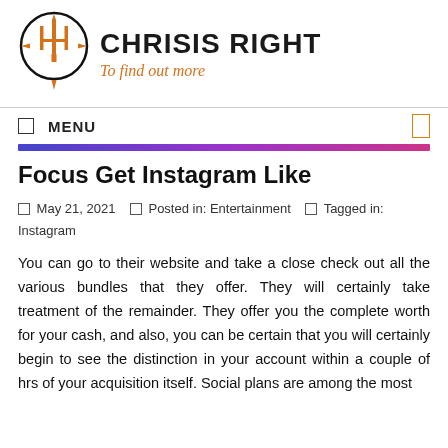[Figure (logo): Chrisis Right logo with trident/crest symbol in orange and black circle, text 'CHRISIS RIGHT' in bold black, subtitle 'To find out more' in orange italic]
MENU
Focus Get Instagram Like
May 21, 2021   Posted in: Entertainment   Tagged in: Instagram
You can go to their website and take a close check out all the various bundles that they offer. They will certainly take treatment of the remainder. They offer you the complete worth for your cash, and also, you can be certain that you will certainly begin to see the distinction in your account within a couple of hrs of your acquisition itself. Social plans are among the most